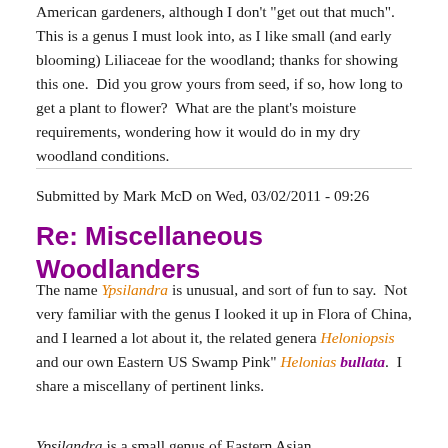American gardeners, although I don't "get out that much". This is a genus I must look into, as I like small (and early blooming) Liliaceae for the woodland; thanks for showing this one.  Did you grow yours from seed, if so, how long to get a plant to flower?  What are the plant's moisture requirements, wondering how it would do in my dry woodland conditions.
Submitted by Mark McD on Wed, 03/02/2011 - 09:26
Re: Miscellaneous Woodlanders
The name Ypsilandra is unusual, and sort of fun to say.  Not very familiar with the genus I looked it up in Flora of China, and I learned a lot about it, the related genera Heloniopsis and our own Eastern US Swamp Pink" Helonias bullata.  I share a miscellany of pertinent links.
Ypsilandra is a small genus of Eastern Asian...